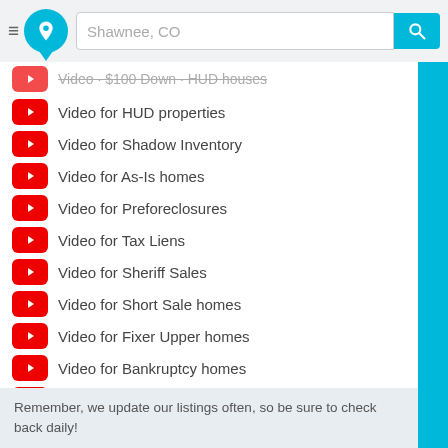Shawnee, CO
Video for $100 Down HUD houses (partial)
Video for HUD properties
Video for Shadow Inventory
Video for As-Is homes
Video for Preforeclosures
Video for Tax Liens
Video for Sheriff Sales
Video for Short Sale homes
Video for Fixer Upper homes
Video for Bankruptcy homes
Video for City Owned homes
Video for Rent to Own homes
Remember, we update our listings often, so be sure to check back daily!